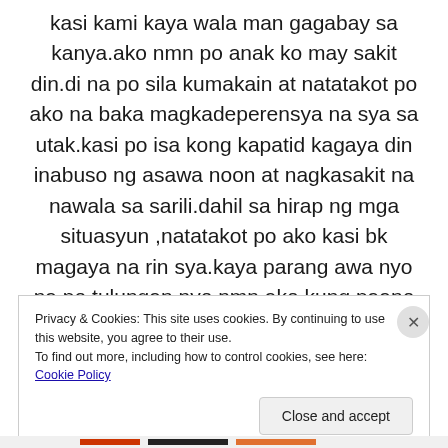kasi kami kaya wala man gagabay sa kanya.ako nmn po anak ko may sakit din.di na po sila kumakain at natatakot po ako na baka magkadeperensya na sya sa utak.kasi po isa kong kapatid kagaya din inabuso ng asawa noon at nagkasakit na nawala sa sarili.dahil sa hirap ng mga situasyun ,natatakot po ako kasi bk magaya na rin sya.kaya parang awa nyo na po tulungan nyo nmn ako kung paano gagawin ko.
Privacy & Cookies: This site uses cookies. By continuing to use this website, you agree to their use.
To find out more, including how to control cookies, see here: Cookie Policy